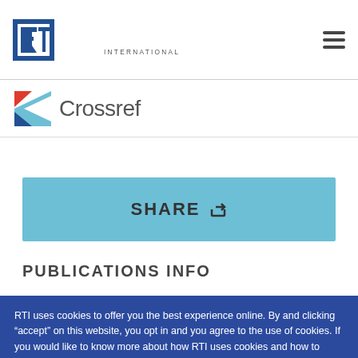RTI International
[Figure (logo): Crossref logo with colored arrow-like icon and the word 'Crossref' in dark gray]
SHARE
PUBLICATIONS INFO
RTI uses cookies to offer you the best experience online. By and clicking “accept” on this website, you opt in and you agree to the use of cookies. If you would like to know more about how RTI uses cookies and how to manage them please view our Privacy Policy here. You can “opt out” or change your mind by visiting: http://optout.aboutads.info/. Click “accept” to agree.
ACCEPT